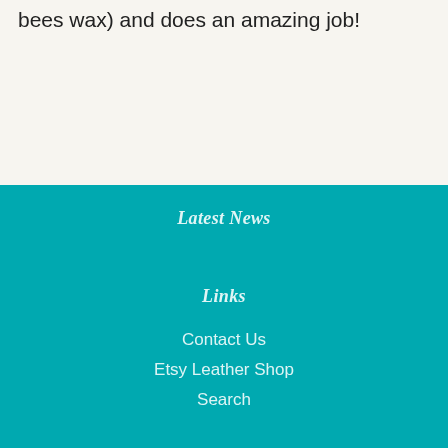bees wax) and does an amazing job!
Latest News
Links
Contact Us
Etsy Leather Shop
Search